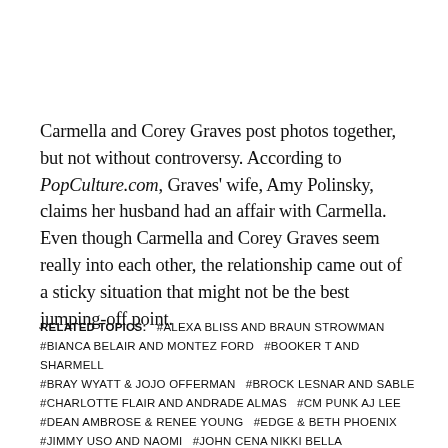Carmella and Corey Graves post photos together, but not without controversy. According to PopCulture.com, Graves' wife, Amy Polinsky, claims her husband had an affair with Carmella. Even though Carmella and Corey Graves seem really into each other, the relationship came out of a sticky situation that might not be the best jumping-off point.
RELATED TOPICS: #ALEXA BLISS AND BRAUN STROWMAN #BIANCA BELAIR AND MONTEZ FORD #BOOKER T AND SHARMELL #BRAY WYATT & JOJO OFFERMAN #BROCK LESNAR AND SABLE #CHARLOTTE FLAIR AND ANDRADE ALMAS #CM PUNK AJ LEE #DEAN AMBROSE & RENEE YOUNG #EDGE & BETH PHOENIX #JIMMY USO AND NAOMI #JOHN CENA NIKKI BELLA #MIKE & MARIA KANELLIS #NAOMI AND JIMMY USO #NIKKI BELLA AND ARTEM CHIGVINTSEV